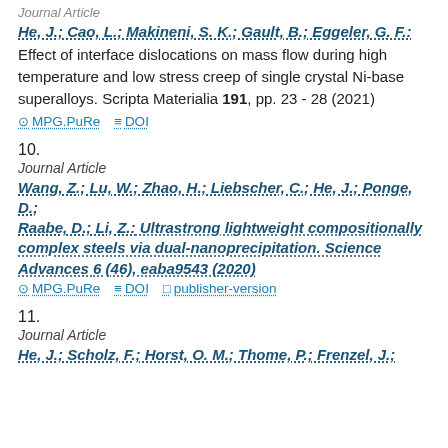Journal Article
He, J.; Cao, L.; Makineni, S. K.; Gault, B.; Eggeler, G. F.: Effect of interface dislocations on mass flow during high temperature and low stress creep of single crystal Ni-base superalloys. Scripta Materialia 191, pp. 23 - 28 (2021)
MPG.PuRe   DOI
10.
Journal Article
Wang, Z.; Lu, W.; Zhao, H.; Liebscher, C.; He, J.; Ponge, D.; Raabe, D.; Li, Z.: Ultrastrong lightweight compositionally complex steels via dual-nanoprecipitation. Science Advances 6 (46), eaba9543 (2020)
MPG.PuRe   DOI   publisher-version
11.
Journal Article
He, J.; Scholz, F.; Horst, O. M.; Thome, P.; Frenzel, J.;